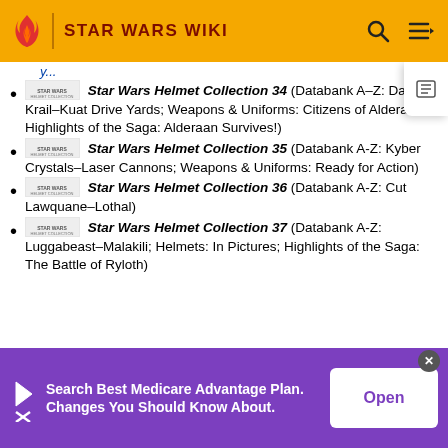STAR WARS WIKI
Star Wars Helmet Collection 34 (Databank A–Z: Davish Krail–Kuat Drive Yards; Weapons & Uniforms: Citizens of Alderaan; Highlights of the Saga: Alderaan Survives!)
Star Wars Helmet Collection 35 (Databank A-Z: Kyber Crystals–Laser Cannons; Weapons & Uniforms: Ready for Action)
Star Wars Helmet Collection 36 (Databank A-Z: Cut Lawquane–Lothal)
Star Wars Helmet Collection 37 (Databank A-Z: Luggabeast–Malakili; Helmets: In Pictures; Highlights of the Saga: The Battle of Ryloth)
Search Best Medicare Advantage Plan. Changes You Should Know About.
Open